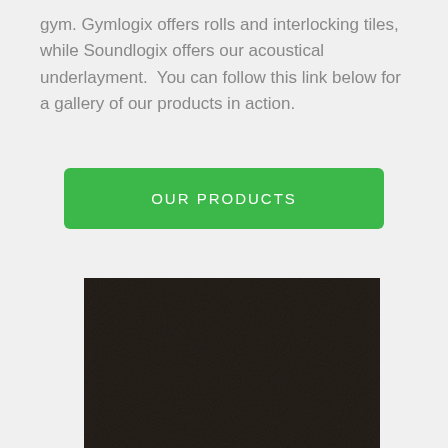gym. Gymlogix offers rolls and interlocking tiles, while Soundlogix offers our acoustical underlayment.  You can follow this link below for a gallery of our products in action.
OUR PRODUCTS
[Figure (photo): Close-up photo of dark black rubber flooring texture material]